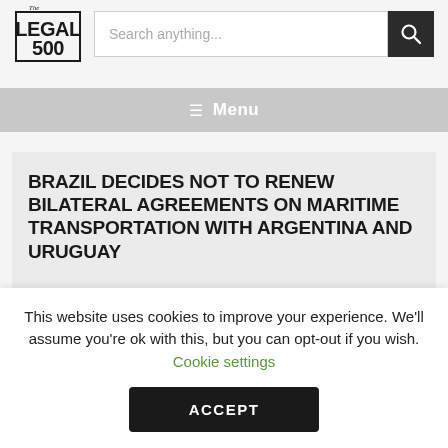[Figure (logo): The Legal 500 logo — black text with 'The' in small script above 'LEGAL' and '500' below in large bold serif font]
BRAZIL DECIDES NOT TO RENEW BILATERAL AGREEMENTS ON MARITIME TRANSPORTATION WITH ARGENTINA AND URUGUAY
This website uses cookies to improve your experience. We'll assume you're ok with this, but you can opt-out if you wish. Cookie settings
ACCEPT